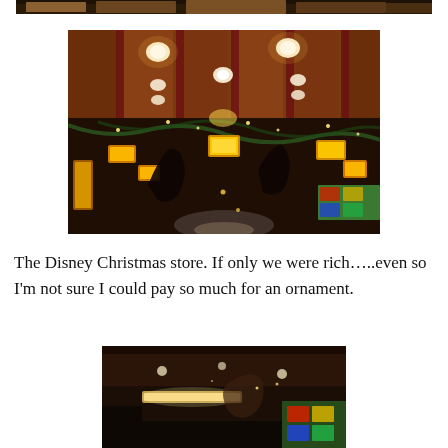[Figure (photo): Partial top edge of a photograph, cropped at the very top of the page.]
[Figure (photo): Interior of the Disney Christmas store, looking up at the ceiling with warm amber lighting, recessed ceiling lights, decorative holiday displays, lanterns, and festive ornaments hanging from the ceiling.]
The Disney Christmas store. If only we were rich…..even so I'm not sure I could pay so much for an ornament.
[Figure (photo): Another interior photo of the Disney Christmas store showing holiday decorations, lights, and festive displays.]